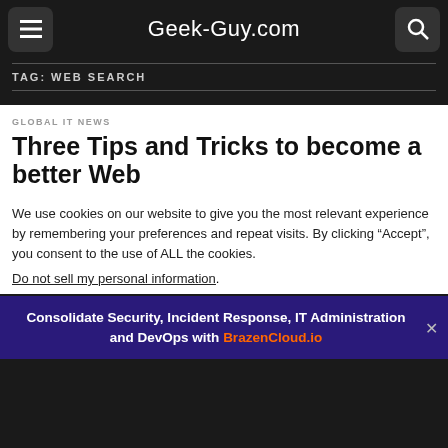Geek-Guy.com
TAG: WEB SEARCH
GLOBAL IT NEWS
Three Tips and Tricks to become a better Web
We use cookies on our website to give you the most relevant experience by remembering your preferences and repeat visits. By clicking “Accept”, you consent to the use of ALL the cookies.
Do not sell my personal information.
Consolidate Security, Incident Response, IT Administration and DevOps with BrazenCloud.io